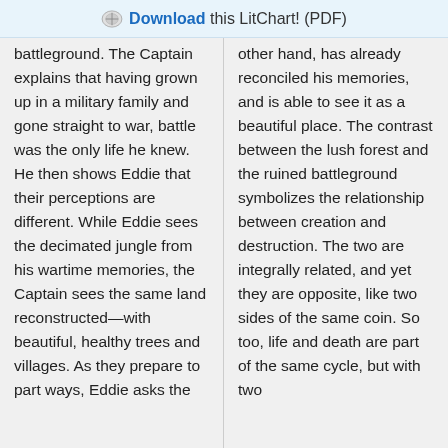Download this LitChart! (PDF)
battleground. The Captain explains that having grown up in a military family and gone straight to war, battle was the only life he knew. He then shows Eddie that their perceptions are different. While Eddie sees the decimated jungle from his wartime memories, the Captain sees the same land reconstructed—with beautiful, healthy trees and villages. As they prepare to part ways, Eddie asks the
other hand, has already reconciled his memories, and is able to see it as a beautiful place. The contrast between the lush forest and the ruined battleground symbolizes the relationship between creation and destruction. The two are integrally related, and yet they are opposite, like two sides of the same coin. So too, life and death are part of the same cycle, but with two